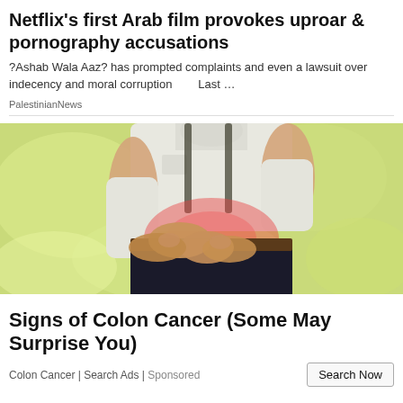Netflix's first Arab film provokes uproar & pornography accusations
?Ashab Wala Aaz? has prompted complaints and even a lawsuit over indecency and moral corruption    Last …
PalestinianNews
[Figure (photo): Person holding their abdomen/stomach area with hands, with a reddish highlight on the stomach area indicating pain. Background is blurred green/yellow bokeh. Person wearing white shirt and dark pants with a brown belt.]
Signs of Colon Cancer (Some May Surprise You)
Colon Cancer | Search Ads | Sponsored
Search Now